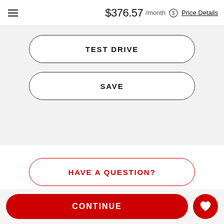$376.57 /month Price Details
TEST DRIVE
SAVE
HAVE A QUESTION?
Call (888) 711-1560
CONTINUE